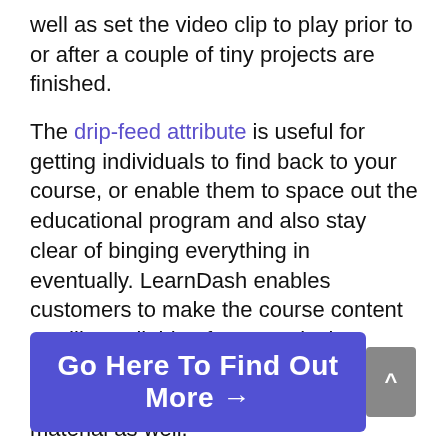well as set the video clip to play prior to or after a couple of tiny projects are finished.
The drip-feed attribute is useful for getting individuals to find back to your course, or enable them to space out the educational program and also stay clear of binging everything in eventually. LearnDash enables customers to make the course content readily available after a particular number of days, or you can set a release schedule for all of your course material as well.
Go Here To Find Out More →